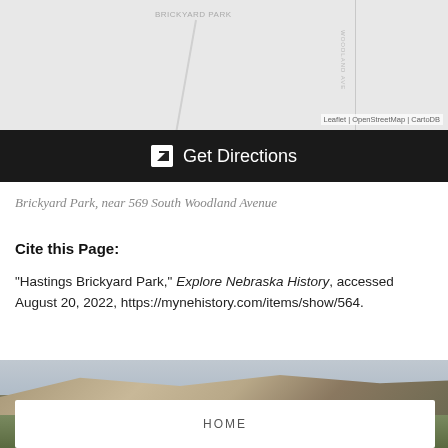[Figure (map): Street map showing Brickyard Park area near South Woodland Avenue. Gray background with road lines and attribution text 'Leaflet | OpenStreetMap | CartoDB'.]
🔗 Get Directions
Brickyard Park, near 569 South Woodland Avenue
Cite this Page:
"Hastings Brickyard Park," Explore Nebraska History, accessed August 20, 2022, https://mynehistory.com/items/show/564.
[Figure (photo): Landscape photograph showing rocky cliffs/bluffs with green grassland in the foreground and overcast sky in background, likely Nebraska landscape.]
HOME